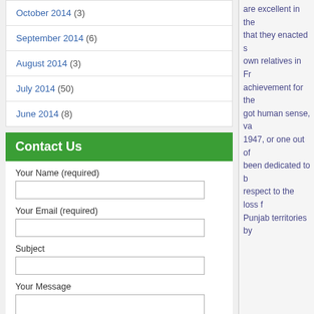October 2014 (3)
September 2014 (6)
August 2014 (3)
July 2014 (50)
June 2014 (8)
Contact Us
Your Name (required)
Your Email (required)
Subject
Your Message
are excellent in the... that they enacted s... own relatives in Fr... achievement for the... got human sense, va... 1947, or one out of... been dedicated to b... respect to the loss f... Punjab territories by...